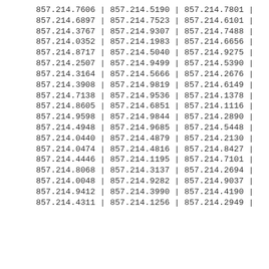857.214.7606 | 857.214.5190 | 857.214.7801 |
857.214.6897 | 857.214.7523 | 857.214.6101 |
857.214.3767 | 857.214.9307 | 857.214.7488 |
857.214.0352 | 857.214.1983 | 857.214.6656 |
857.214.8717 | 857.214.5040 | 857.214.9275 |
857.214.2507 | 857.214.9499 | 857.214.5390 |
857.214.3164 | 857.214.5666 | 857.214.2676 |
857.214.3908 | 857.214.9819 | 857.214.6149 |
857.214.7138 | 857.214.9536 | 857.214.1378 |
857.214.8605 | 857.214.6851 | 857.214.1116 |
857.214.9598 | 857.214.9844 | 857.214.2890 |
857.214.4948 | 857.214.9685 | 857.214.5448 |
857.214.0440 | 857.214.4879 | 857.214.2130 |
857.214.0474 | 857.214.4816 | 857.214.8427 |
857.214.4446 | 857.214.1195 | 857.214.7101 |
857.214.8068 | 857.214.3137 | 857.214.2694 |
857.214.0048 | 857.214.9282 | 857.214.9037 |
857.214.9412 | 857.214.3990 | 857.214.4190 |
857.214.4311 | 857.214.1256 | 857.214.2949 |